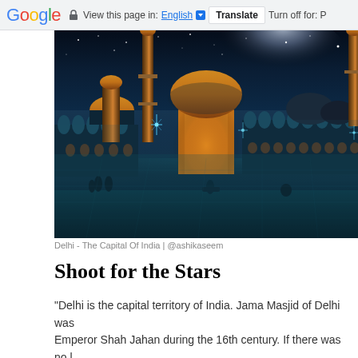Google | View this page in: English | Translate | Turn off for: P
[Figure (photo): Nighttime photo of Jama Masjid mosque in Delhi, India, lit with warm amber and blue-green lights under a starry night sky with the Milky Way visible. People are visible in the courtyard.]
Delhi - The Capital Of India | @ashikaseem
Shoot for the Stars
"Delhi is the capital territory of India. Jama Masjid of Delhi was Emperor Shah Jahan during the 16th century. If there was no l Delhi, the night sky above would be full of countless stars." – (